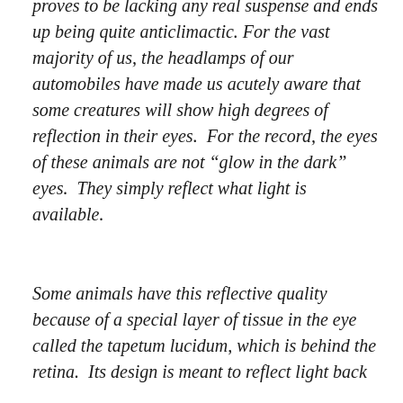proves to be lacking any real suspense and ends up being quite anticlimactic. For the vast majority of us, the headlamps of our automobiles have made us acutely aware that some creatures will show high degrees of reflection in their eyes. For the record, the eyes of these animals are not “glow in the dark” eyes. They simply reflect what light is available.
Some animals have this reflective quality because of a special layer of tissue in the eye called the tapetum lucidum, which is behind the retina. Its design is meant to reflect light back